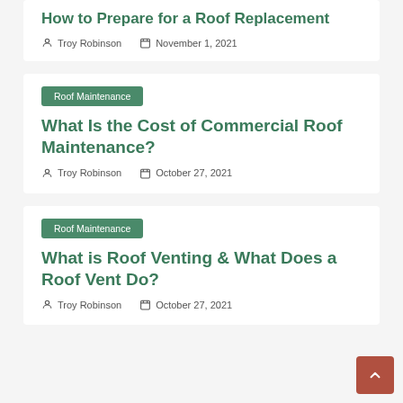How to Prepare for a Roof Replacement
Troy Robinson · November 1, 2021
Roof Maintenance
What Is the Cost of Commercial Roof Maintenance?
Troy Robinson · October 27, 2021
Roof Maintenance
What is Roof Venting & What Does a Roof Vent Do?
Troy Robinson · October 27, 2021